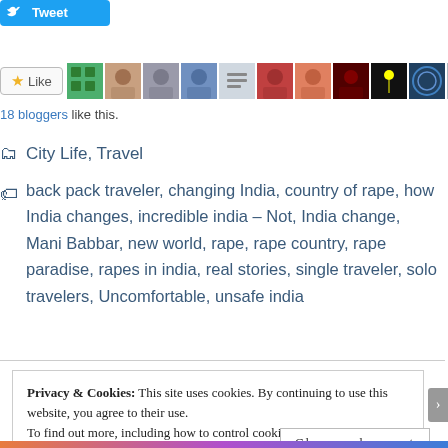[Figure (screenshot): Tweet button (blue)]
[Figure (screenshot): Like button with 18 blogger avatar thumbnails]
18 bloggers like this.
City Life, Travel
back pack traveler, changing India, country of rape, how India changes, incredible india - Not, India change, Mani Babbar, new world, rape, rape country, rape paradise, rapes in india, real stories, single traveler, solo travelers, Uncomfortable, unsafe india
Privacy & Cookies: This site uses cookies. By continuing to use this website, you agree to their use.
To find out more, including how to control cookies, see here: Cookie Policy
Close and accept